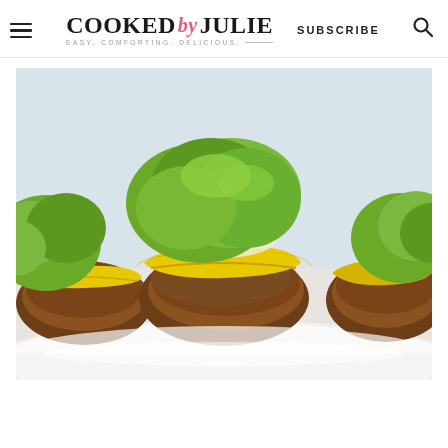COOKED by JULIE — EASY. COMFORTING. DELICIOUS. | SUBSCRIBE
[Figure (photo): Close-up photo of bunless cheeseburgers (burger patties topped with melted yellow American cheese, shredded lettuce, and white onion) arranged on a white rectangular plate, with a white background.]